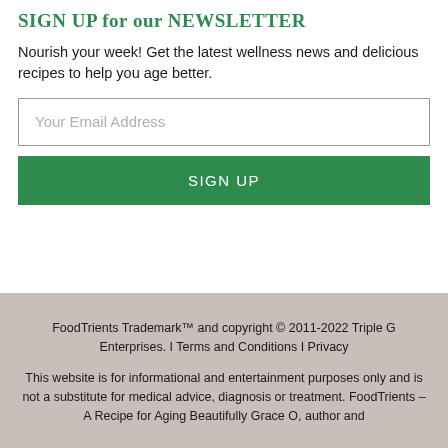SIGN UP for our NEWSLETTER
Nourish your week! Get the latest wellness news and delicious recipes to help you age better.
Your Email Address
SIGN UP
FoodTrients Trademark™ and copyright © 2011-2022 Triple G Enterprises. I Terms and Conditions I Privacy
This website is for informational and entertainment purposes only and is not a substitute for medical advice, diagnosis or treatment. FoodTrients – A Recipe for Aging Beautifully Grace O, author and